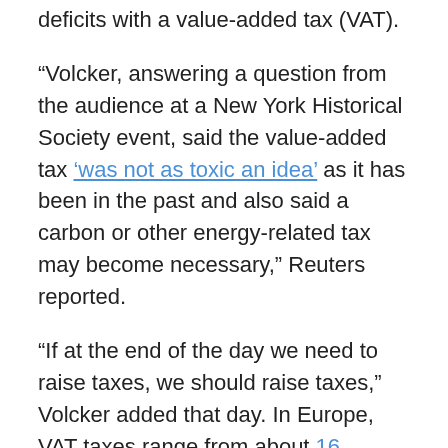deficits with a value-added tax (VAT).
“Volcker, answering a question from the audience at a New York Historical Society event, said the value-added tax ‘was not as toxic an idea’ as it has been in the past and also said a carbon or other energy-related tax may become necessary,” Reuters reported.
“If at the end of the day we need to raise taxes, we should raise taxes,” Volcker added that day. In Europe, VAT taxes range from about 16 percent to 25 percent with an average of roughly 20 percent, according to Olivier Garret of Casey Research. Garrett, who grew up in France, called the VAT “a license to steal without people knowing it.”
A VAT is a consumption tax “levied along stages of production,” according to the Wall Street Journal. In